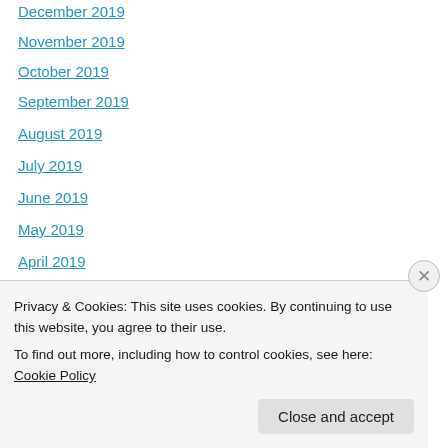December 2019
November 2019
October 2019
September 2019
August 2019
July 2019
June 2019
May 2019
April 2019
March 2019
February 2019
January 2019
December 2018
November 2018
Privacy & Cookies: This site uses cookies. By continuing to use this website, you agree to their use.
To find out more, including how to control cookies, see here: Cookie Policy
Close and accept